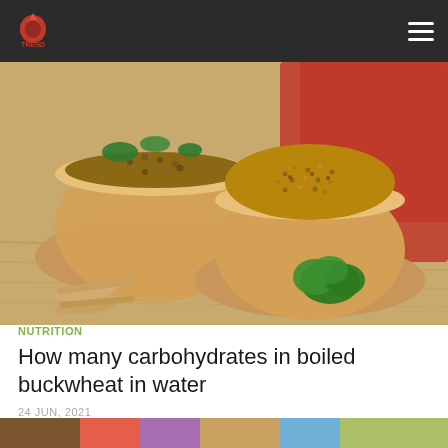FoodTrend logo and navigation
[Figure (photo): Two wooden bowls filled with buckwheat grains and cooked buckwheat with herbs, wooden spoons on a wooden surface with parsley, red cloth background]
NUTRITION
How many carbohydrates in boiled buckwheat in water
24 JUN, 2021
[Figure (photo): Bottom portion of another article image partially visible]